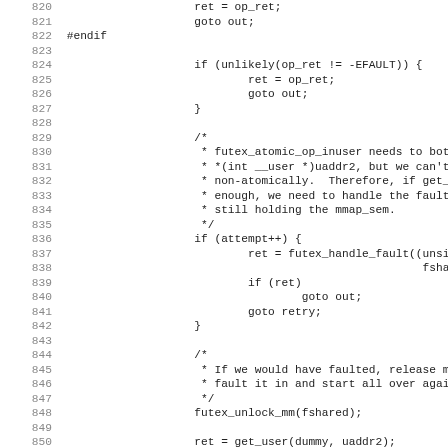[Figure (other): Source code listing (C/kernel code), lines 820-851, showing futex-related kernel code with line numbers on the left and code on the right in monospace font.]